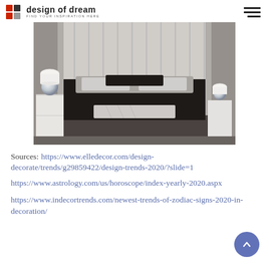design of dream
[Figure (photo): Modern bedroom with dark bedding, white nightstands, silver ball lamps, and upholstered headboard with vertical panels]
Sources:    https://www.elledecor.com/design-decorate/trends/g29859422/design-trends-2020/?slide=1
https://www.astrology.com/us/horoscope/index-yearly-2020.aspx
https://www.indecortrends.com/newest-trends-of-zodiac-signs-2020-in-decoration/